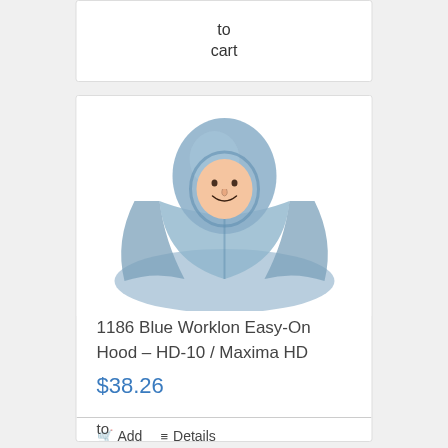to cart
[Figure (photo): Blue cleanroom hood worn by a person, showing a blue fabric hood that covers the head and drapes over the shoulders, product photo on white background]
1186 Blue Worklon Easy-On Hood – HD-10 / Maxima HD
$38.26
Add to
Details